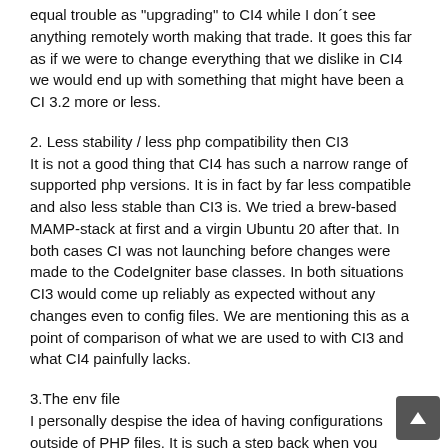equal trouble as "upgrading" to CI4 while I don´t see anything remotely worth making that trade. It goes this far as if we were to change everything that we dislike in CI4 we would end up with something that might have been a CI 3.2 more or less.
2. Less stability / less php compatibility then CI3
It is not a good thing that CI4 has such a narrow range of supported php versions. It is in fact by far less compatible and also less stable than CI3 is. We tried a brew-based MAMP-stack at first and a virgin Ubuntu 20 after that. In both cases CI was not launching before changes were made to the CodeIgniter base classes. In both situations CI3 would come up reliably as expected without any changes even to config files. We are mentioning this as a point of comparison of what we are used to with CI3 and what CI4 painfully lacks.
3.The env file
I personally despise the idea of having configurations outside of PHP files. It is such a step back when you cannot use the full power of the scripting language to make self-adapting directives. I am aware that one does not have to use env but it still bothers me.
4. Compulsory Namespacing